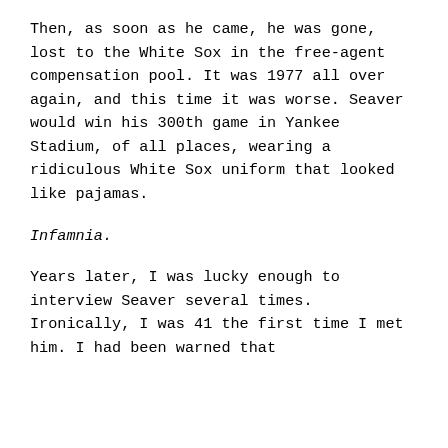Then, as soon as he came, he was gone, lost to the White Sox in the free-agent compensation pool. It was 1977 all over again, and this time it was worse. Seaver would win his 300th game in Yankee Stadium, of all places, wearing a ridiculous White Sox uniform that looked like pajamas.
Infamnia.
Years later, I was lucky enough to interview Seaver several times. Ironically, I was 41 the first time I met him. I had been warned that